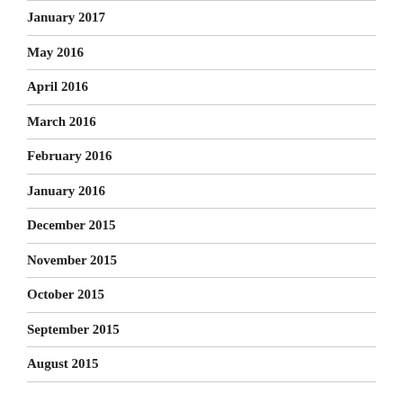January 2017
May 2016
April 2016
March 2016
February 2016
January 2016
December 2015
November 2015
October 2015
September 2015
August 2015